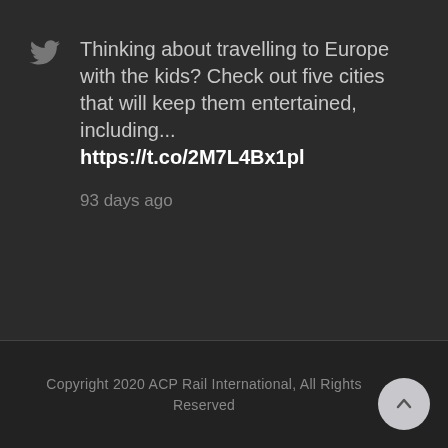Thinking about travelling to Europe with the kids? Check out five cities that will keep them entertained, including... https://t.co/2M7L4Bx1pl
93 days ago
Copyright 2020 ACP Rail International, All Rights Reserved